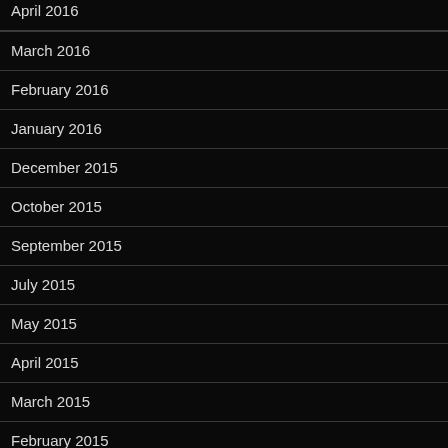April 2016
March 2016
February 2016
January 2016
December 2015
October 2015
September 2015
July 2015
May 2015
April 2015
March 2015
February 2015
January 2015